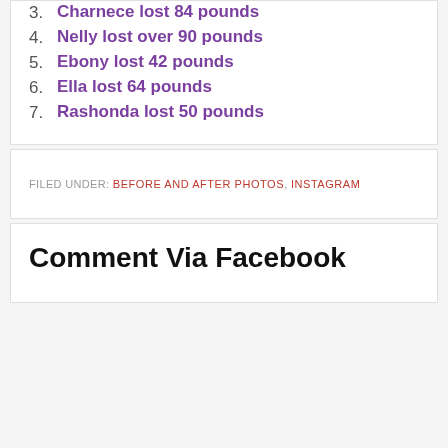Mother and Daughter lose 149 pounds combined
Charnece lost 84 pounds
Nelly lost over 90 pounds
Ebony lost 42 pounds
Ella lost 64 pounds
Rashonda lost 50 pounds
FILED UNDER: BEFORE AND AFTER PHOTOS, INSTAGRAM
Comment Via Facebook